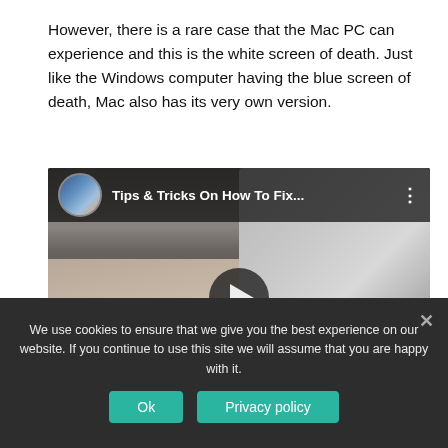However, there is a rare case that the Mac PC can experience and this is the white screen of death. Just like the Windows computer having the blue screen of death, Mac also has its very own version.
[Figure (screenshot): Embedded YouTube video thumbnail showing a person's hands on an Apple keyboard on a desk with an iMac in the background. The video title bar shows 'Tips & Tricks On How To Fix...' with a channel avatar. A play button is visible in the center.]
We use cookies to ensure that we give you the best experience on our website. If you continue to use this site we will assume that you are happy with it.